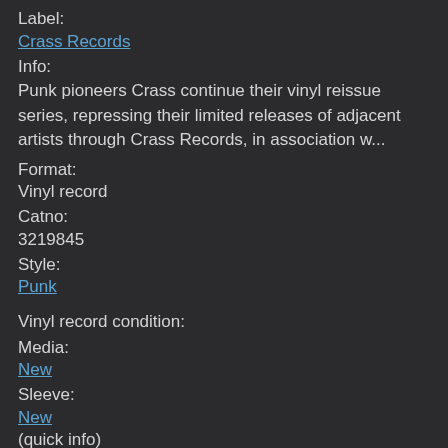Label:
Crass Records
Info:
Punk pioneers Crass continue their vinyl reissue series, repressing their limited releases of adjacent artists through Crass Records, in association w...
Format:
Vinyl record
Catno:
3219845
Style:
Punk
Vinyl record condition:
Media:
New
Sleeve:
New
(quick info)
Price:
£18.99
€22.53
$22.38